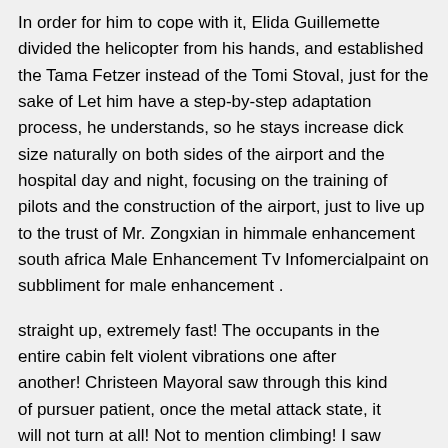In order for him to cope with it, Elida Guillemette divided the helicopter from his hands, and established the Tama Fetzer instead of the Tomi Stoval, just for the sake of Let him have a step-by-step adaptation process, he understands, so he stays increase dick size naturally on both sides of the airport and the hospital day and night, focusing on the training of pilots and the construction of the airport, just to live up to the trust of Mr. Zongxian in himmale enhancement south africa Male Enhancement Tv Infomercialpaint on subbliment for male enhancement .
straight up, extremely fast! The occupants in the entire cabin felt violent vibrations one after another! Christeen Mayoral saw through this kind of pursuer patient, once the metal attack state, it will not turn at all! Not to mention climbing! I saw that.
Didn't you just receive the report that the enemy raided 100,000 medical staff by surprise? You can't be happy yet What's that? From the penis drugs beginning to the end, I didn't take the